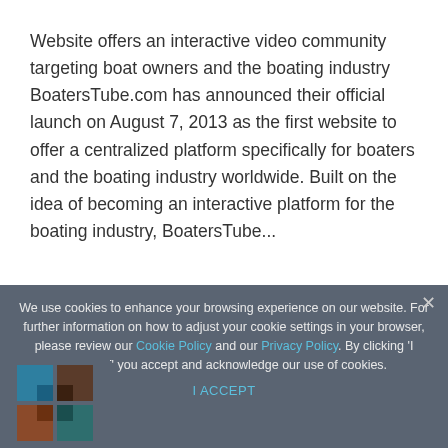Website offers an interactive video community targeting boat owners and the boating industry BoatersTube.com has announced their official launch on August 7, 2013 as the first website to offer a centralized platform specifically for boaters and the boating industry worldwide. Built on the idea of becoming an interactive platform for the boating industry, BoatersTube...
We use cookies to enhance your browsing experience on our website. For further information on how to adjust your cookie settings in your browser, please review our Cookie Policy and our Privacy Policy. By clicking 'I ACCEPT' you accept and acknowledge our use of cookies.
I ACCEPT